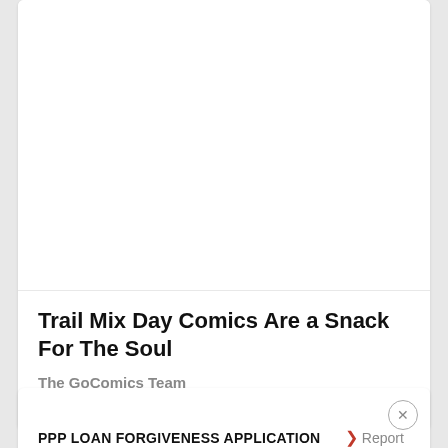[Figure (photo): White blank image area at top of article card]
Trail Mix Day Comics Are a Snack For The Soul
The GoComics Team
August 31, 2017
[Figure (other): Advertisement card: PPP LOAN FORGIVENESS APPLICATION with close button, Report an ad link, Ad badge and An AMG Site text]